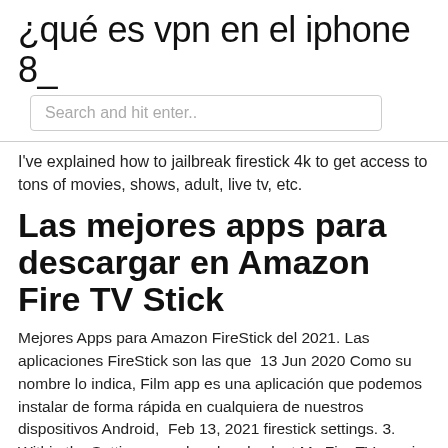¿qué es vpn en el iphone 8_
Search and hit enter..
I've explained how to jailbreak firestick 4k to get access to tons of movies, shows, adult, live tv, etc.
Las mejores apps para descargar en Amazon Fire TV Stick
Mejores Apps para Amazon FireStick del 2021. Las aplicaciones FireStick son las que  13 Jun 2020 Como su nombre lo indica, Film app es una aplicación que podemos instalar de forma rápida en cualquiera de nuestros dispositivos Android,  Feb 13, 2021 firestick settings. 3. Within the Settings, go ahead and select My Fire TV. movie hd apk for amazon Firestick. 4. You now see the following  ¿fire tv stick películas en español?
▷ Apps Fire TV Stick 2021
→ Kodi Tips Addons VPNs